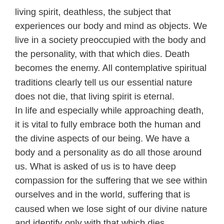living spirit, deathless, the subject that experiences our body and mind as objects. We live in a society preoccupied with the body and the personality, with that which dies. Death becomes the enemy. All contemplative spiritual traditions clearly tell us our essential nature does not die, that living spirit is eternal.
In life and especially while approaching death, it is vital to fully embrace both the human and the divine aspects of our being. We have a body and a personality as do all those around us. What is asked of us is to have deep compassion for the suffering that we see within ourselves and in the world, suffering that is caused when we lose sight of our divine nature and identify only with that which dies.